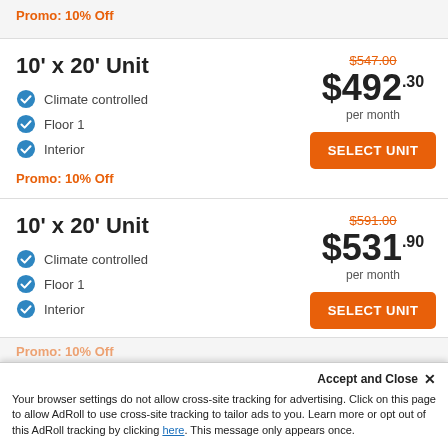Promo: 10% Off
10' x 20' Unit
Climate controlled
Floor 1
Interior
$547.00
$492.30 per month
SELECT UNIT
Promo: 10% Off
10' x 20' Unit
Climate controlled
Floor 1
Interior
$591.00
$531.90 per month
SELECT UNIT
Promo: 10% Off
Accept and Close ×
Your browser settings do not allow cross-site tracking for advertising. Click on this page to allow AdRoll to use cross-site tracking to tailor ads to you. Learn more or opt out of this AdRoll tracking by clicking here. This message only appears once.